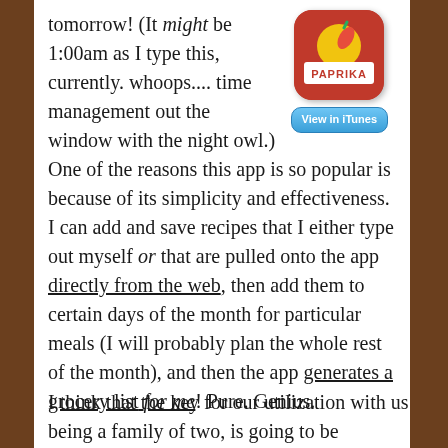[Figure (screenshot): Paprika app icon (red rounded square with yellow circle and chili pepper, white PAPRIKA banner) with a 'View in iTunes' blue button below it]
tomorrow! (It might be 1:00am as I type this, currently. whoops.... time management out the window with the night owl.) One of the reasons this app is so popular is because of its simplicity and effectiveness. I can add and save recipes that I either type out myself or that are pulled onto the app directly from the web, then add them to certain days of the month for particular meals (I will probably plan the whole rest of the month), and then the app generates a grocery list for me! Pure. Genius.
I think that the key for our utilization with us being a family of two, is going to be